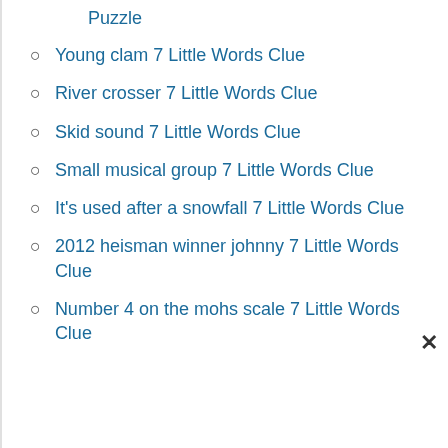Puzzle
Young clam 7 Little Words Clue
River crosser 7 Little Words Clue
Skid sound 7 Little Words Clue
Small musical group 7 Little Words Clue
It's used after a snowfall 7 Little Words Clue
2012 heisman winner johnny 7 Little Words Clue
Number 4 on the mohs scale 7 Little Words Clue